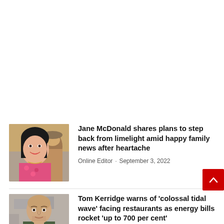[Figure (photo): Photo of Jane McDonald smiling outdoors at an event]
Jane McDonald shares plans to step back from limelight amid happy family news after heartache
Online Editor · September 3, 2022
[Figure (photo): Photo of Tom Kerridge, bald man in a green shirt, standing outside a building]
Tom Kerridge warns of 'colossal tidal wave' facing restaurants as energy bills rocket 'up to 700 per cent'